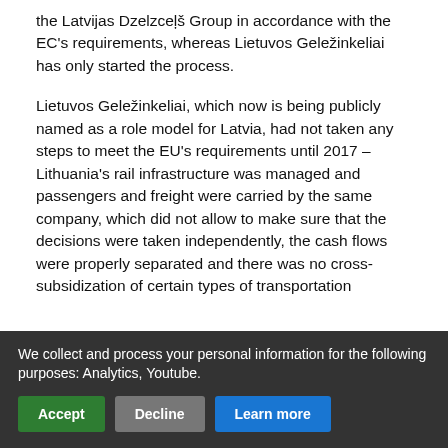the Latvijas Dzelzceļš Group in accordance with the EC's requirements, whereas Lietuvos Geležinkeliai has only started the process.
Lietuvos Geležinkeliai, which now is being publicly named as a role model for Latvia, had not taken any steps to meet the EU's requirements until 2017 – Lithuania's rail infrastructure was managed and passengers and freight were carried by the same company, which did not allow to make sure that the decisions were taken independently, the cash flows were properly separated and there was no cross-subsidization of certain types of transportation services in the rail company.
As it ruled in 2017 on the dismantled tracks in the Reņģe-Mažeikiai section, the European Commission also noted a
We collect and process your personal information for the following purposes: Analytics, Youtube.